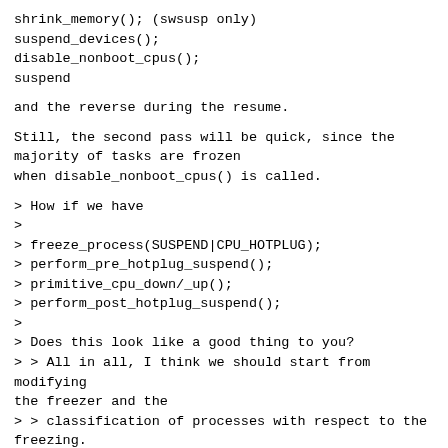shrink_memory(); (swsusp only)
suspend_devices();
disable_nonboot_cpus();
suspend
and the reverse during the resume.
Still, the second pass will be quick, since the majority of tasks are frozen
when disable_nonboot_cpus() is called.
> How if we have
>
> freeze_process(SUSPEND|CPU_HOTPLUG);
> perform_pre_hotplug_suspend();
> primitive_cpu_down/_up();
> perform_post_hotplug_suspend();
>
> Does this look like a good thing to you?
> > All in all, I think we should start from modifying the freezer and the
> > classification of processes with respect to the freezing.
> >
>
> Cool! Lets get started then ;-)
No problem with that. ;-)
Speaking of the classification, do you think it would